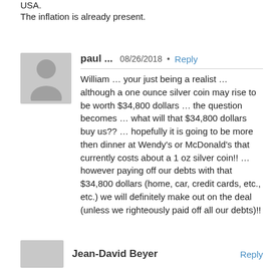USA.
The inflation is already present.
paul ...  08/26/2018 • Reply
William … your just being a realist … although a one ounce silver coin may rise to be worth $34,800 dollars … the question becomes … what will that $34,800 dollars buy us?? … hopefully it is going to be more then dinner at Wendy's or McDonald's that currently costs about a 1 oz silver coin!! … however paying off our debts with that $34,800 dollars (home, car, credit cards, etc., etc.) we will definitely make out on the deal (unless we righteously paid off all our debts)!!
Jean-David Beyer  Reply